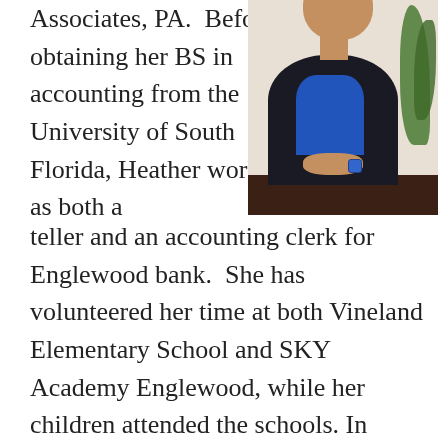Associates, PA.  Before obtaining her BS in accounting from the University of South Florida, Heather worked as both a teller and an accounting clerk for Englewood bank.  She has volunteered her time at both Vineland Elementary School and SKY Academy Englewood, while her children attended the schools. In addition, Heather currently holds volunteer/board member positions as treasurer for a number of nonprofit organizations including Cub Scout Pack 26, Business and Professional Women of Englewood/Venice, and
[Figure (photo): Portrait photo of a person wearing a dark blazer over a blue shirt, seated in front of a light wall with a plant visible in the background]